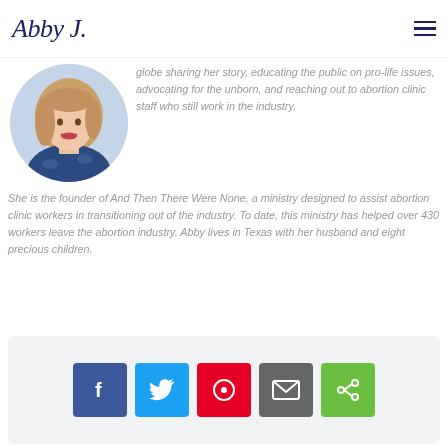Abby J. [logo/signature]
[Figure (photo): Circular portrait photo of a woman with long wavy blonde hair wearing a blue floral top, smiling, white background]
globe sharing her story, educating the public on pro-life issues, advocating for the unborn, and reaching out to abortion clinic staff who still work in the industry. She is the founder of And Then There Were None, a ministry designed to assist abortion clinic workers in transitioning out of the industry. To date, this ministry has helped over 430 workers leave the abortion industry. Abby lives in Texas with her husband and eight precious children.
[Figure (infographic): Social sharing buttons row: Facebook (blue), Twitter (light blue), Pinterest (red), Email (gray), Share (green)]